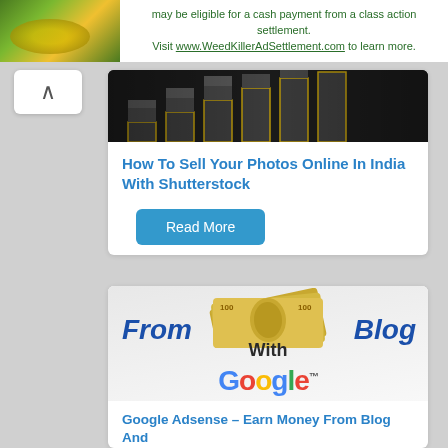may be eligible for a cash payment from a class action settlement. Visit www.WeedKillerAdSettlement.com to learn more.
[Figure (screenshot): Article card with stacked money/cash bundles image thumbnail]
How To Sell Your Photos Online In India With Shutterstock
Read More
[Figure (illustration): Promotional image with text: From Blog With Google Adsense, showing $100 bills fanned out and Google logo text]
Google Adsense – Earn Money From Blog And